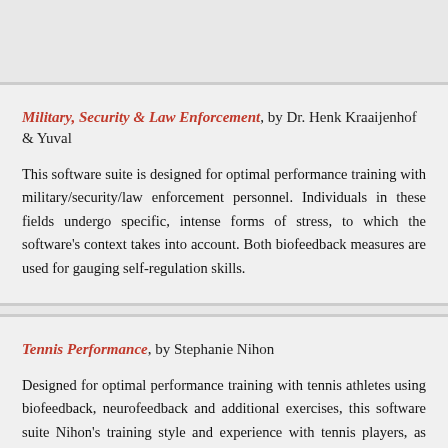Military, Security & Law Enforcement, by Dr. Henk Kraaijenhof & Yuval ... This software suite is designed for optimal performance training with military/security/law enforcement personnel. Individuals in these fields undergo specific, intense forms of stress, to which the software's context takes into account. Both biofeedback ... measures are used for gauging self-regulation skills.
Tennis Performance, by Stephanie Nihon Designed for optimal performance training with tennis athletes using biofeedback, neurofeedback and additional exercises, this software suite ... Nihon's training style and experience with tennis players, as well as the gu... working closely for several years with Dr. Vietta (Sue) Wilson and the Dr...